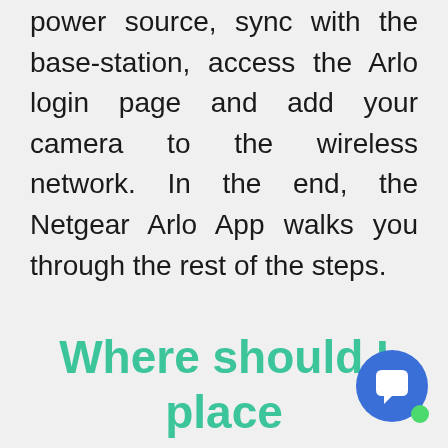power source, sync with the base-station, access the Arlo login page and add your camera to the wireless network. In the end, the Netgear Arlo App walks you through the rest of the steps.
Where should I place my Arlo Camera?
It is important to place a security camera at the right place to capture important ev… tha…